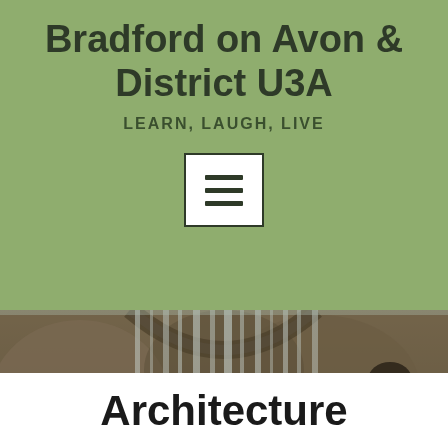Bradford on Avon & District U3A
LEARN, LAUGH, LIVE
[Figure (other): Menu/hamburger icon — three horizontal lines inside a white bordered rectangle]
[Figure (photo): Waterfall cascading over stone arch, close-up view of water flowing over rock surface]
Architecture